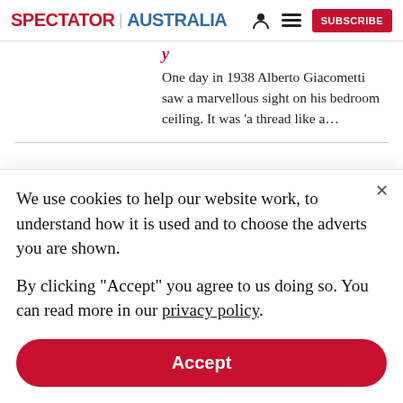SPECTATOR | AUSTRALIA  [person icon] [menu icon]  SUBSCRIBE
One day in 1938 Alberto Giacometti saw a marvellous sight on his bedroom ceiling. It was ‘a thread like a…
Camp carnival: Roy
[Figure (photo): Thumbnail photo of three people with dark hair, cropped at shoulders, facing camera]
We use cookies to help our website work, to understand how it is used and to choose the adverts you are shown.

By clicking "Accept" you agree to us doing so. You can read more in our privacy policy.
Accept